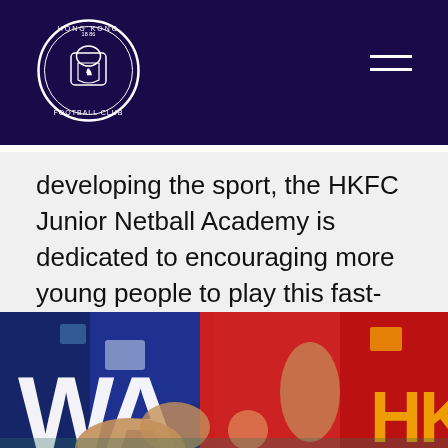[Figure (logo): Hong Kong Football Club circular logo on dark navy navigation bar with hamburger menu icon]
developing the sport, the HKFC Junior Netball Academy is dedicated to encouraging more young people to play this fast-moving sport and provides coaching and training for members and non-members' children.
Netball DSA Website   Facebook
[Figure (photo): Netball players in blue and red uniforms, close-up action shot showing WA on blue jersey]